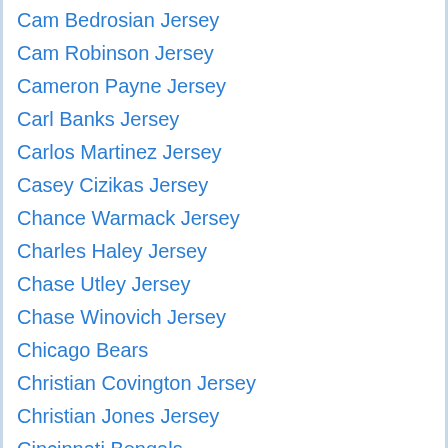Cam Bedrosian Jersey
Cam Robinson Jersey
Cameron Payne Jersey
Carl Banks Jersey
Carlos Martinez Jersey
Casey Cizikas Jersey
Chance Warmack Jersey
Charles Haley Jersey
Chase Utley Jersey
Chase Winovich Jersey
Chicago Bears
Christian Covington Jersey
Christian Jones Jersey
Cincinnati Bengals
Clark Gillies Jersey
Colin Kaepernick Jersey
Colin McDonald Jersey